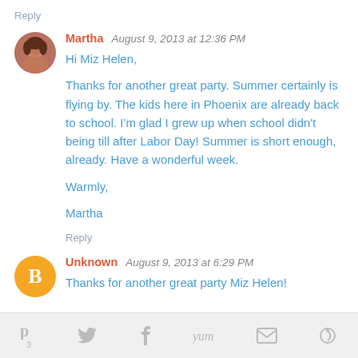Reply
Martha  August 9, 2013 at 12:36 PM
Hi Miz Helen,

Thanks for another great party. Summer certainly is flying by. The kids here in Phoenix are already back to school. I'm glad I grew up when school didn't being till after Labor Day! Summer is short enough, already. Have a wonderful week.

Warmly,

Martha
Reply
Unknown  August 9, 2013 at 6:29 PM
Thanks for another great party Miz Helen!
[Figure (infographic): Social sharing icons row: Pinterest (p, count 3), Twitter (bird), Facebook (f), Yum, Email (envelope), other icon]